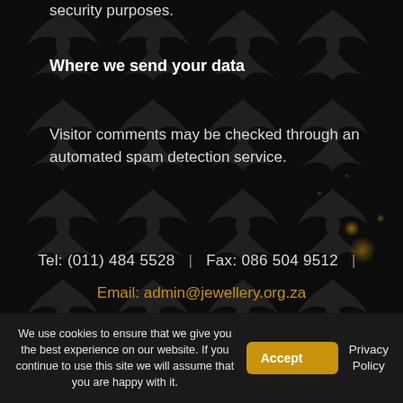security purposes.
Where we send your data
Visitor comments may be checked through an automated spam detection service.
Tel: (011) 484 5528  |  Fax: 086 504 9512  |
Email: admin@jewellery.org.za
We use cookies to ensure that we give you the best experience on our website. If you continue to use this site we will assume that you are happy with it.